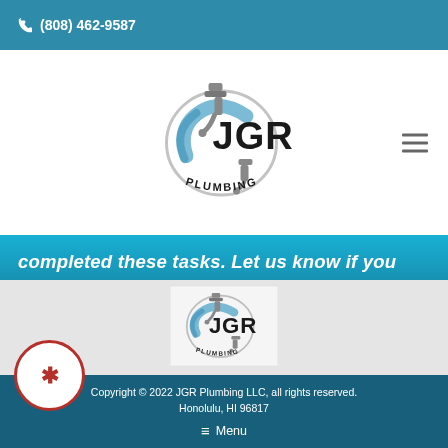(808) 462-9587
[Figure (logo): JGR Plumbing logo with faucet and water graphic, text JGR Plumbing]
completed these tasks. Let us know if you have questions about the gas line installation process.
[Figure (logo): JGR Plumbing footer logo]
Copyright © 2022 JGR Plumbing LLC, all rights reserved. Honolulu, HI 96817
≡ Menu